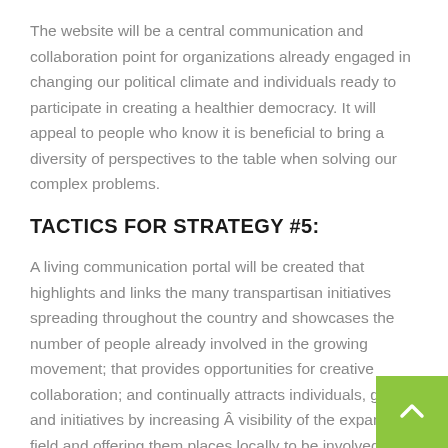The website will be a central communication and collaboration point for organizations already engaged in changing our political climate and individuals ready to participate in creating a healthier democracy. It will appeal to people who know it is beneficial to bring a diversity of perspectives to the table when solving our complex problems.
TACTICS FOR STRATEGY #5:
A living communication portal will be created that highlights and links the many transpartisan initiatives spreading throughout the country and showcases the number of people already involved in the growing movement; that provides opportunities for creative collaboration; and continually attracts individuals, groups and initiatives by increasing Â visibility of the expanding field and offering them places locally to be involved.